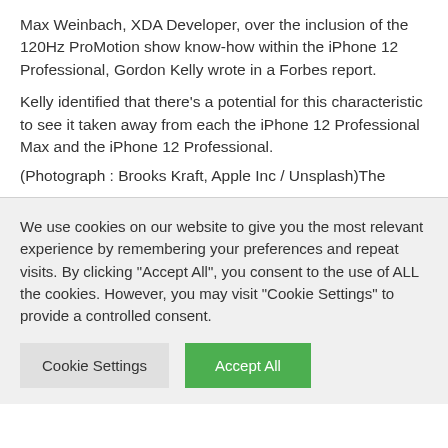Max Weinbach, XDA Developer, over the inclusion of the 120Hz ProMotion show know-how within the iPhone 12 Professional, Gordon Kelly wrote in a Forbes report.
Kelly identified that there's a potential for this characteristic to see it taken away from each the iPhone 12 Professional Max and the iPhone 12 Professional.
(Photograph : Brooks Kraft, Apple Inc / Unsplash)The
We use cookies on our website to give you the most relevant experience by remembering your preferences and repeat visits. By clicking "Accept All", you consent to the use of ALL the cookies. However, you may visit "Cookie Settings" to provide a controlled consent.